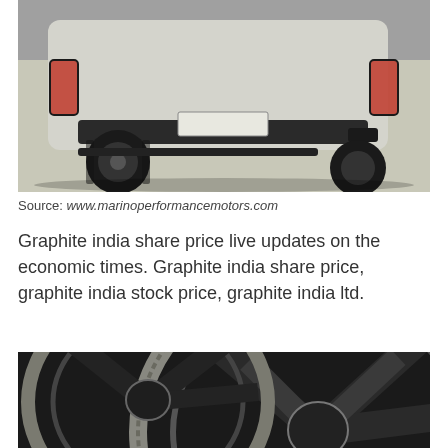[Figure (photo): Rear view of a silver SUV with black off-road tires and black trim, parked in a showroom or garage]
Source: www.marinoperformancemotors.com
Graphite india share price live updates on the economic times. Graphite india share price, graphite india stock price, graphite india ltd.
[Figure (photo): Close-up of a dark carbon-fiber or chrome multi-spoke alloy wheel rim]